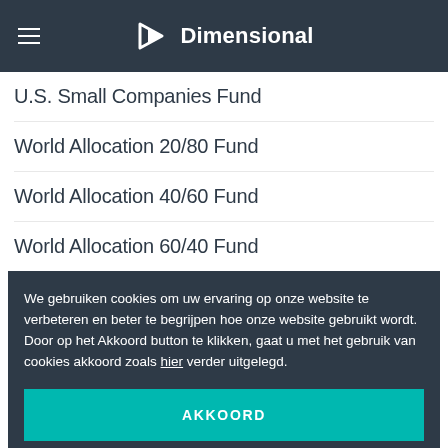Dimensional
U.S. Small Companies Fund
World Allocation 20/80 Fund
World Allocation 40/60 Fund
World Allocation 60/40 Fund
We gebruiken cookies om uw ervaring op onze website te verbeteren en beter te begrijpen hoe onze website gebruikt wordt. Door op het Akkoord button te klikken, gaat u met het gebruik van cookies akkoord zoals hier verder uitgelegd.
AKKOORD
Emerging Markets Targeted Value Fund